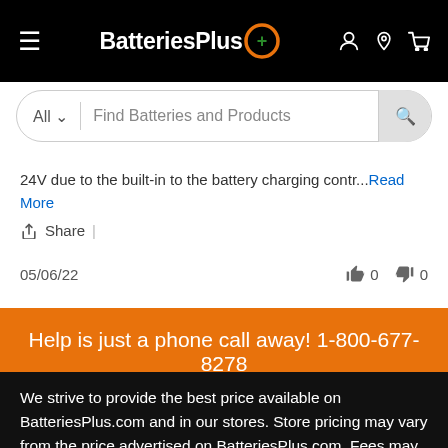BatteriesPlus+
All  |  Find Batteries and Products
24V due to the built-in to the battery charging contr...Read More
Share |
05/06/22  👍 0  👎 0
Help is just a phone call away! 1-800-677-8278
We strive to provide the best price available on BatteriesPlus.com and in our stores. Store pricing may vary from the price advertised on BatteriesPlus.com. Fees may apply for recycling, environmental disposal